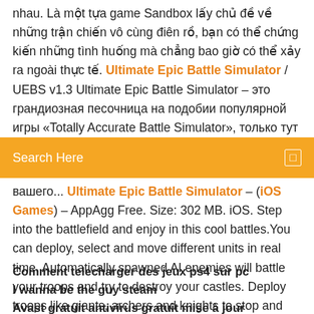nhau. Là một tựa game Sandbox lấy chủ đề về những trận chiến vô cùng điên rồ, bạn có thể chứng kiến những tình huống mà chẳng bao giờ có thể xảy ra ngoài thực tế. Ultimate Epic Battle Simulator / UEBS v1.3 Ultimate Epic Battle Simulator – это грандиозная песочница на подобии популярной игры «Totally Accurate Battle Simulator», только тут у вас нет никаких
Search Here
вашего... Ultimate Epic Battle Simulator – (iOS Games) – AppAgg Free. Size: 302 MB. iOS. Step into the battlefield and enjoy in this cool battles.You can deploy, select and move different units in real time. Automatically spawned AI enemies will battle your troops and try to destroy your castles. Deploy troops like giants, archers and knights to stop and defeat them!
Comment telecharger des jeux ps4 sur pc
I wanna be the guy steam
Avast gratuit antivirus gratuit mise à jour